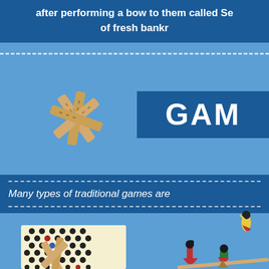after performing a bow to them called Se... of fresh bankr...
[Figure (illustration): Traditional Korean wooden stick game pieces (yut sticks) crossed over each other]
GAM
Many types of traditional games are ...
[Figure (illustration): Korean traditional board game (Yut Nori) board with black and red pieces, and yut sticks on a cream-colored square board]
[Figure (illustration): Korean traditional seesaw game (Neolttwigi) with two women in traditional hanbok dress on a seesaw, and a person flying in the air above]